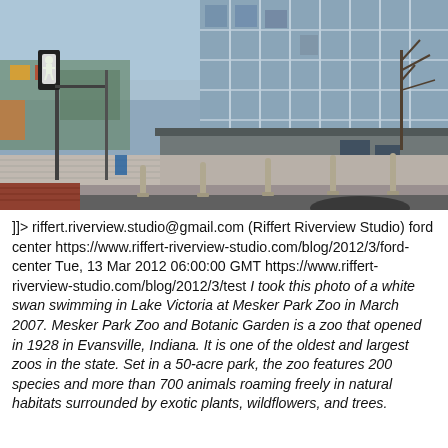[Figure (photo): Street-level photograph of a modern glass and metal building corner with bollards along a brick-edged sidewalk, traffic signal with pedestrian walk symbol visible on left, clear blue sky.]
]]> riffert.riverview.studio@gmail.com (Riffert Riverview Studio) ford center https://www.riffert-riverview-studio.com/blog/2012/3/ford-center Tue, 13 Mar 2012 06:00:00 GMT https://www.riffert-riverview-studio.com/blog/2012/3/test I took this photo of a white swan swimming in Lake Victoria at Mesker Park Zoo in March 2007. Mesker Park Zoo and Botanic Garden is a zoo that opened in 1928 in Evansville, Indiana. It is one of the oldest and largest zoos in the state. Set in a 50-acre park, the zoo features 200 species and more than 700 animals roaming freely in natural habitats surrounded by exotic plants, wildflowers, and trees.